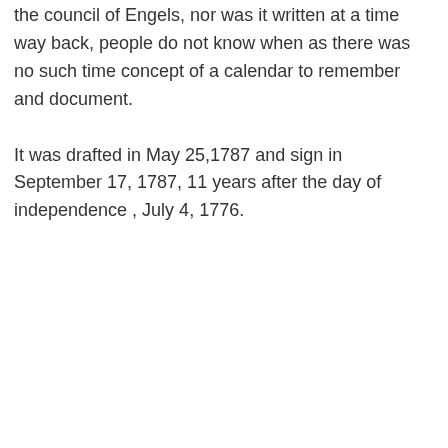the council of Engels, nor was it written at a time way back, people do not know when as there was no such time concept of a calendar to remember and document.
It was drafted in May 25,1787 and sign in September 17, 1787, 11 years after the day of independence , July 4, 1776.